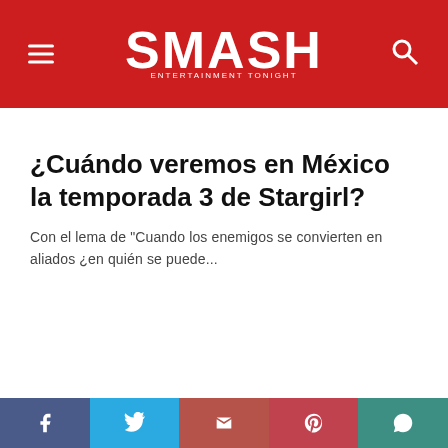SMASH
¿Cuándo veremos en México la temporada 3 de Stargirl?
Con el lema de "Cuando los enemigos se convierten en aliados ¿en quién se puede...